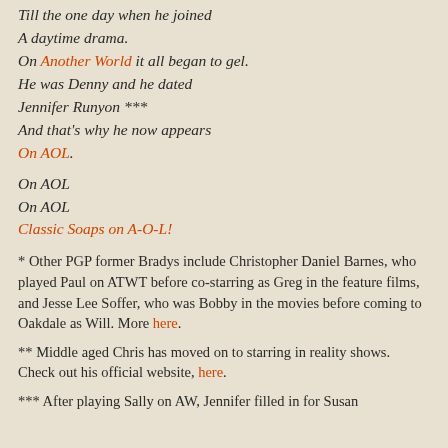Till the one day when he joined
A daytime drama.
On Another World it all began to gel.
He was Denny and he dated
Jennifer Runyon ***
And that's why he now appears
On AOL.
On AOL
On AOL
Classic Soaps on A-O-L!
* Other PGP former Bradys include Christopher Daniel Barnes, who played Paul on ATWT before co-starring as Greg in the feature films, and Jesse Lee Soffer, who was Bobby in the movies before coming to Oakdale as Will. More here.
** Middle aged Chris has moved on to starring in reality shows. Check out his official website, here.
*** After playing Sally on AW, Jennifer filled in for Susan